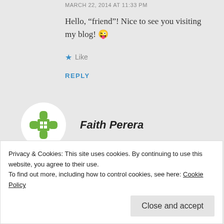MARCH 22, 2014 AT 11:33 PM
Hello, “friend”! Nice to see you visiting my blog! 😜
★ Like
REPLY
[Figure (logo): Green cross/flower avatar icon in a white circle for Faith Perera]
Faith Perera
AUGUST 8, 2016 AT 11:16 PM
Privacy & Cookies: This site uses cookies. By continuing to use this website, you agree to their use.
To find out more, including how to control cookies, see here: Cookie Policy